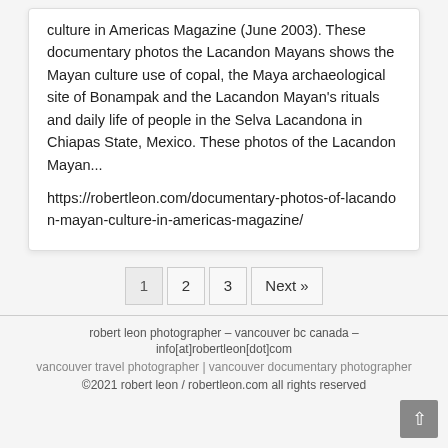culture in Americas Magazine (June 2003). These documentary photos the Lacandon Mayans shows the Mayan culture use of copal, the Maya archaeological site of Bonampak and the Lacandon Mayan's rituals and daily life of people in the Selva Lacandona in Chiapas State, Mexico. These photos of the Lacandon Mayan...
https://robertleon.com/documentary-photos-of-lacandon-mayan-culture-in-americas-magazine/
1
2
3
Next »
robert leon photographer – vancouver bc canada – info[at]robertleon[dot]com
vancouver travel photographer | vancouver documentary photographer
©2021 robert leon / robertleon.com all rights reserved